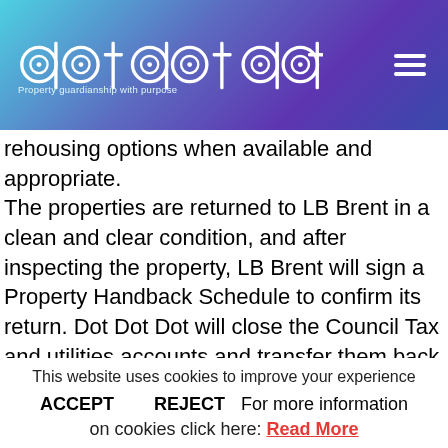[Figure (logo): Dot Dot Dot logo with circular letter styling and tagline 'Property guardianship with purpose' on gradient blue/purple header background]
rehousing options when available and appropriate. The properties are returned to LB Brent in a clean and clear condition, and after inspecting the property, LB Brent will sign a Property Handback Schedule to confirm its return. Dot Dot Dot will close the Council Tax and utilities accounts and transfer them back to LB
This website uses cookies to improve your experience
ACCEPT   REJECT   For more information on cookies click here: Read More